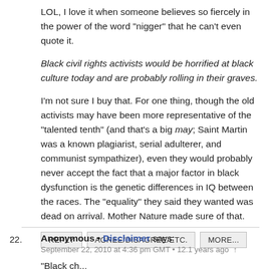LOL, I love it when someone believes so fiercely in the power of the word "nigger" that he can't even quote it.
Black civil rights activists would be horrified at black culture today and are probably rolling in their graves.
I'm not sure I buy that. For one thing, though the old activists may have been more representative of the "talented tenth" (and that's a big may; Saint Martin was a known plagiarist, serial adulterer, and communist sympathizer), even they would probably never accept the fact that a major factor in black dysfunction is the genetic differences in IQ between the races. The "equality" they said they wanted was dead on arrival. Mother Nature made sure of that.
REPLY   AGREE/DISAGREE/ETC.   MORE...
22. Anonymous • Disclaimer says: September 22, 2010 at 4:36 pm GMT • 12.1 years ago
"Black ch...